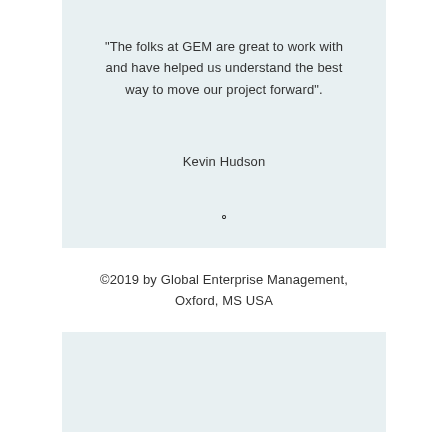"The folks at GEM are great to work with and have helped us understand the best way to move our project forward".
Kevin Hudson
○
©2019 by Global Enterprise Management, Oxford, MS USA